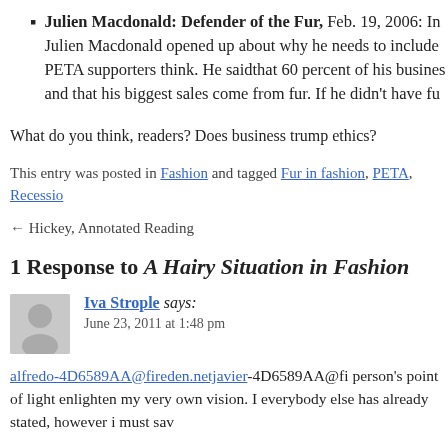Julien Macdonald: Defender of the Fur, Feb. 19, 2006: In Julien Macdonald opened up about why he needs to include PETA supporters think. He saidthat 60 percent of his business and that his biggest sales come from fur. If he didn't have fu
What do you think, readers? Does business trump ethics?
This entry was posted in Fashion and tagged Fur in fashion, PETA, Recessio
← Hickey, Annotated Reading
1 Response to A Hairy Situation in Fashion
Iva Strople says:
June 23, 2011 at 1:48 pm
alfredo-4D6589AA@fireden.netjavier-4D6589AA@fi person's point of light enlighten my very own vision. I everybody else has already stated, however i must sav